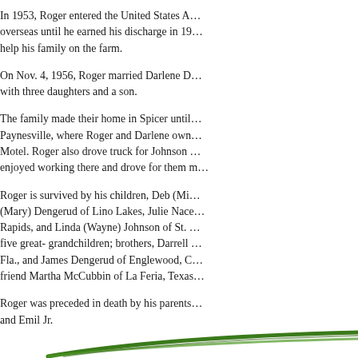In 1953, Roger entered the United States A... overseas until he earned his discharge in 19... help his family on the farm.
On Nov. 4, 1956, Roger married Darlene D... with three daughters and a son.
The family made their home in Spicer until... Paynesville, where Roger and Darlene own... Motel. Roger also drove truck for Johnson ... enjoyed working there and drove for them m...
Roger is survived by his children, Deb (Mi... (Mary) Dengerud of Lino Lakes, Julie Nace... Rapids, and Linda (Wayne) Johnson of St. ... five great- grandchildren; brothers, Darrell ... Fla., and James Dengerud of Englewood, C... friend Martha McCubbin of La Feria, Texas...
Roger was preceded in death by his parents... and Emil Jr.
[Figure (illustration): Decorative plant/leaf illustration at bottom of page, green curved leaf or stem running diagonally]